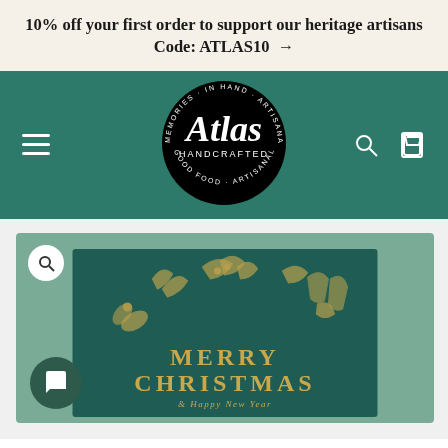10% off your first order to support our heritage artisans Code: ATLAS10 →
[Figure (logo): Atlas Handcrafted circular logo with script lettering and surrounding text on dark teal navigation bar, with hamburger menu on left and search/cart icons on right]
[Figure (photo): Christmas greeting card product image on sage green background. Card shows a gold foil wreath made of Christmas elements (holly, pine, candy cane, gingerbread) on dark teal background with 'MERRY CHRISTMAS & Happy New Year' text in gold. Zoom button in top-left corner. Chat button in bottom-left corner.]